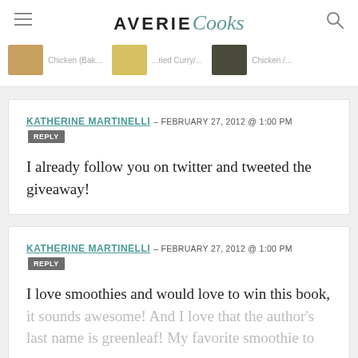AVERIE Cooks
KATHERINE MARTINELLI – FEBRUARY 27, 2012 @ 1:00 PM REPLY
I already follow you on twitter and tweeted the giveaway!
KATHERINE MARTINELLI – FEBRUARY 27, 2012 @ 1:00 PM REPLY
I love smoothies and would love to win this book, it sounds awesome! And I love that the author's last name is greenleaf! My favorite smoothie to